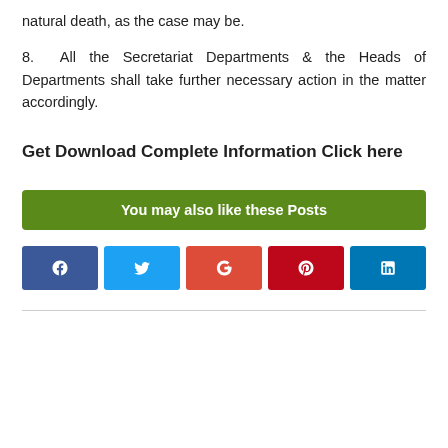natural death, as the case may be.
8. All the Secretariat Departments & the Heads of Departments shall take further necessary action in the matter accordingly.
Get Download Complete Information Click here
You may also like these Posts
[Figure (infographic): Social media share buttons: Facebook, Twitter, Google+, Pinterest, LinkedIn]